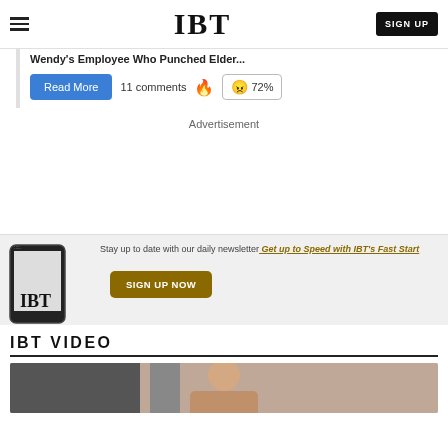IBT
Wendy's Employee Who Punched Elder...
Read More  11 comments 🔥 😠 72%
Advertisement
Stay up to date with our daily newsletter Get up to Speed with IBT's Fast Start
SIGN UP NOW
IBT VIDEO